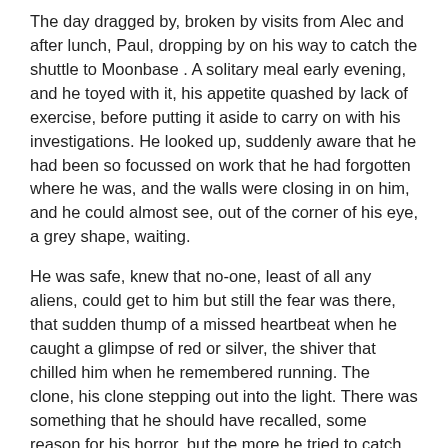The day dragged by, broken by visits from Alec and after lunch, Paul, dropping by on his way to catch the shuttle to Moonbase . A solitary meal early evening, and he toyed with it, his appetite quashed by lack of exercise, before putting it aside to carry on with his investigations. He looked up, suddenly aware that he had been so focussed on work that he had forgotten where he was, and the walls were closing in on him, and he could almost see, out of the corner of his eye, a grey shape, waiting.
He was safe, knew that no-one, least of all any aliens, could get to him but still the fear was there, that sudden thump of a missed heartbeat when he caught a glimpse of red or silver, the shiver that chilled him when he remembered running. The clone, his clone stepping out into the light. There was something that he should have recalled, some reason for his horror, but the more he tried to catch that elusive memory, the more it retreated, until he was shaking with the effort.
A futile exercise he realised, and he stood up, papers scattering across the desk, to pace the small confines of his cell, until he realised the futility. The silence seeped into his bones and he found himself listening yet again for those familiar sounds that had